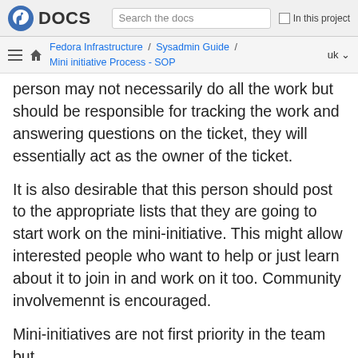Fedora DOCS | Search the docs | In this project
Fedora Infrastructure / Sysadmin Guide / Mini initiative Process - SOP | uk
person may not necessarily do all the work but should be responsible for tracking the work and answering questions on the ticket, they will essentially act as the owner of the ticket.
It is also desirable that this person should post to the appropriate lists that they are going to start work on the mini-initiative. This might allow interested people who want to help or just learn about it to join in and work on it too. Community involvemennt is encouraged.
Mini-initiatives are not first priority in the team but